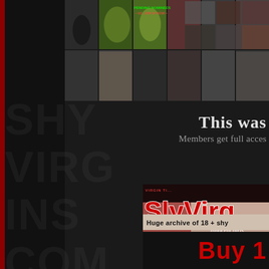[Figure (screenshot): Top banner mosaic of thumbnail images from an adult website]
This was
Members get full acces
[Figure (screenshot): SlyVirg advertisement banner showing logo with 'Innocent girls' tagline and skin-toned background photo]
Huge archive of 18+ shy
Buy 1